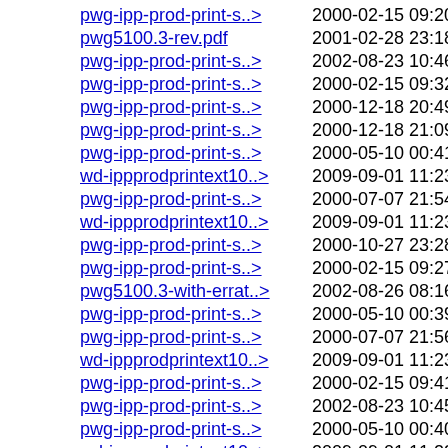pwg-ipp-prod-print-s..> 2000-02-15 09:20 295K
pwg5100.3-rev.pdf 2001-02-28 23:18 299K
pwg-ipp-prod-print-s..> 2002-08-23 10:46 301K
pwg-ipp-prod-print-s..> 2000-02-15 09:32 306K
pwg-ipp-prod-print-s..> 2000-12-18 20:49 313K
pwg-ipp-prod-print-s..> 2000-12-18 21:09 316K
pwg-ipp-prod-print-s..> 2000-05-10 00:41 361K
wd-ippprodprintext10..> 2009-09-01 11:23 364K
pwg-ipp-prod-print-s..> 2000-07-07 21:54 371K
wd-ippprodprintext10..> 2009-09-01 11:23 372K
pwg-ipp-prod-print-s..> 2000-10-27 23:28 382K
pwg-ipp-prod-print-s..> 2000-02-15 09:27 411K
pwg5100.3-with-errat..> 2002-08-26 08:16 443K
pwg-ipp-prod-print-s..> 2000-05-10 00:39 443K
pwg-ipp-prod-print-s..> 2000-07-07 21:56 445K
wd-ippprodprintext10..> 2009-09-01 11:23 503K
pwg-ipp-prod-print-s..> 2000-02-15 09:41 507K
pwg-ipp-prod-print-s..> 2002-08-23 10:45 536K
pwg-ipp-prod-print-s..> 2000-05-10 00:40 550K
wd-ippprodprintext10..> 2009-09-01 11:23 719K
pwg-ipp-prod-print-s..> 2000-12-03 22:42 738K